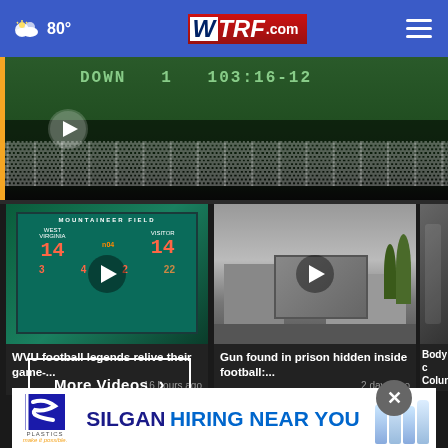[Figure (screenshot): WTRF.com website header with weather (80°), logo, and hamburger menu on blue background]
[Figure (screenshot): Main video thumbnail showing a football scoreboard/stadium crowd scene with play button]
[Figure (screenshot): Video card: WVU football legends relive their game- ... 16 hours ago, showing Mountaineer Field scoreboard]
[Figure (screenshot): Video card: Gun found in prison hidden inside football: ... 2 days ago, showing prison exterior]
[Figure (screenshot): Partial video card: Body ... Colum... (partially visible)]
More Videos ›
[Figure (screenshot): Advertisement banner: SILGAN HIRING NEAR YOU - Silgan Plastics make it possible]